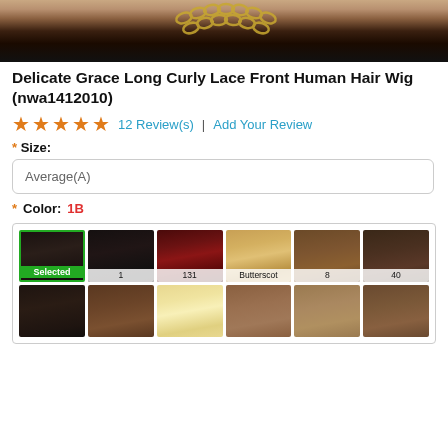[Figure (photo): Partial view of a woman wearing a long curly black wig with gold chain jewelry, showing neck and shoulder area]
Delicate Grace Long Curly Lace Front Human Hair Wig (nwa1412010)
★★★★★  12 Review(s)  |  Add Your Review
* Size: Average(A)
* Color: 1B
[Figure (illustration): Color swatch grid for wig colors: Selected (1B), 1, 131, Butterscot, 8, 40, and 6 more swatches in second row]